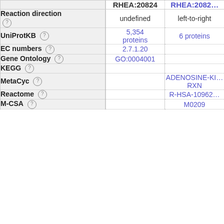|  | RHEA:20824 | RHEA:2082... |
| --- | --- | --- |
| Reaction direction | undefined | left-to-right |
| UniProtKB | 5,354 proteins | 6 proteins |
| EC numbers | 2.7.1.20 |  |
| Gene Ontology | GO:0004001 |  |
| KEGG |  |  |
| MetaCyc |  | ADENOSINE-KI... RXN |
| Reactome |  | R-HSA-10962... |
| M-CSA |  | M0209 |